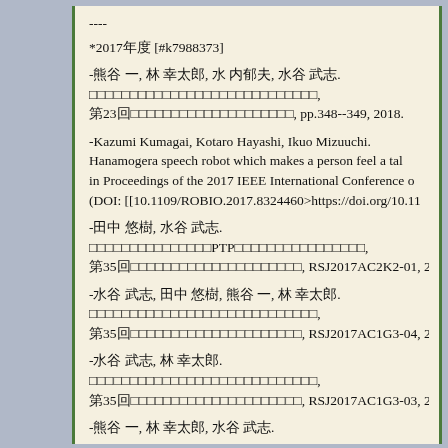----
*2017年度 [#k7988373]
-熊谷 一, 林 幸太郎, 水 内郁夫, 水谷 武志.
□□□□□□□□□□□□□□□□□□□□□□□□□□□□,
□23□□□□□□□□□□□□□□□□□□□□□, pp.348--349, 2018.
-Kazumi Kumagai, Kotaro Hayashi, Ikuo Mizuuchi. Hanamogera speech robot which makes a person feel a tal in Proceedings of the 2017 IEEE International Conference o (DOI: [[10.1109/ROBIO.2017.8324460>https://doi.org/10.11
-田中 悠樹, 水谷 武志.
□□□□□□□□□□□□□□□PTP□□□□□□□□□□□□□□□□,
□35□□□□□□□□□□□□□□□□□□□□□, RSJ2017AC2K2-01, 2017.
-水谷 武志, 田中 悠樹, 熊谷 一, 林 幸太郎.
□□□□□□□□□□□□□□□□□□□□□□□□□□□□,
□35□□□□□□□□□□□□□□□□□□□□□, RSJ2017AC1G3-04, 2017.
-水谷 武志, 林 幸太郎.
□□□□□□□□□□□□□□□□□□□□□□□□□□□□,
□35□□□□□□□□□□□□□□□□□□□□□, RSJ2017AC1G3-03, 2017.
-熊谷 一, 林 幸太郎, 水谷 武志.
□□□□□□□□□□□□□□□□□□□□□□□□.